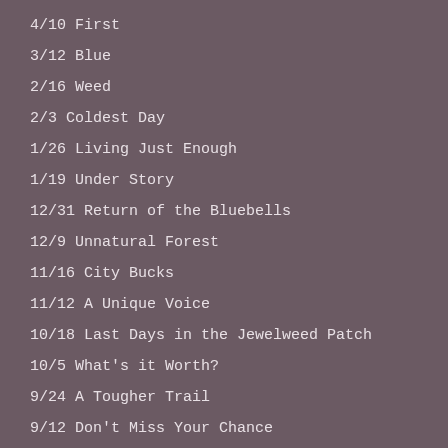4/10 First
3/12 Blue
2/16 Weed
2/3 Coldest Day
1/26 Living Just Enough
1/19 Under Story
12/31 Return of the Bluebells
12/9 Unnatural Forest
11/16 City Bucks
11/12 A Unique Voice
10/18 Last Days in the Jewelweed Patch
10/5 What's it Worth?
9/24 A Tougher Trail
9/12 Don't Miss Your Chance